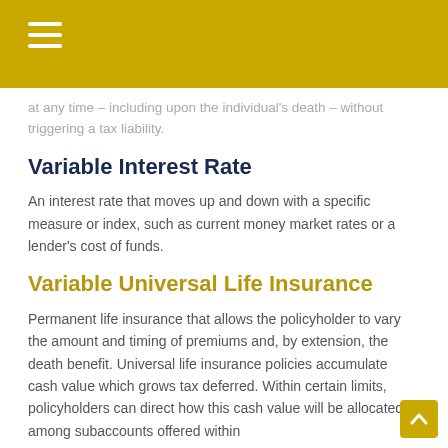at any time – including upon the individual's death – without triggering a tax liability.
Variable Interest Rate
An interest rate that moves up and down with a specific measure or index, such as current money market rates or a lender's cost of funds.
Variable Universal Life Insurance
Permanent life insurance that allows the policyholder to vary the amount and timing of premiums and, by extension, the death benefit. Universal life insurance policies accumulate cash value which grows tax deferred. Within certain limits, policyholders can direct how this cash value will be allocated among subaccounts offered within